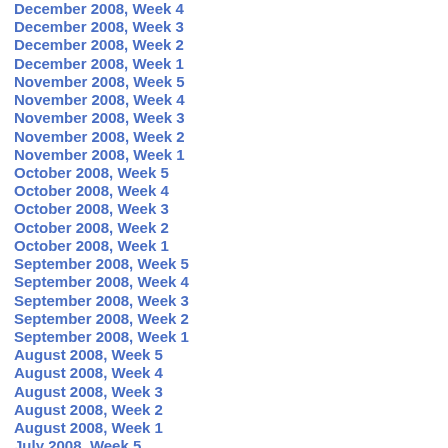December 2008, Week 4
December 2008, Week 3
December 2008, Week 2
December 2008, Week 1
November 2008, Week 5
November 2008, Week 4
November 2008, Week 3
November 2008, Week 2
November 2008, Week 1
October 2008, Week 5
October 2008, Week 4
October 2008, Week 3
October 2008, Week 2
October 2008, Week 1
September 2008, Week 5
September 2008, Week 4
September 2008, Week 3
September 2008, Week 2
September 2008, Week 1
August 2008, Week 5
August 2008, Week 4
August 2008, Week 3
August 2008, Week 2
August 2008, Week 1
July 2008, Week 5
July 2008, Week 4
July 2008, Week 3
July 2008, Week 2
July 2008, Week 1
June 2008, Week 5